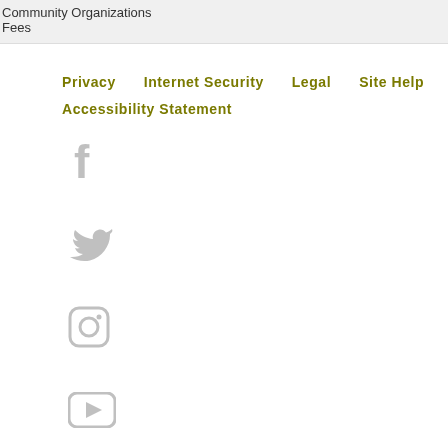Community Organizations
Fees
Privacy
Internet Security
Legal
Site Help
Accessibility Statement
[Figure (logo): Facebook icon (gray)]
[Figure (logo): Twitter icon (gray)]
[Figure (logo): Instagram icon (gray, rounded square outline)]
[Figure (logo): YouTube icon (gray, rounded rectangle with play triangle)]